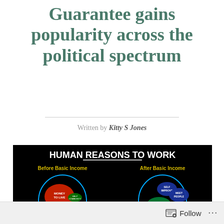Guarantee gains popularity across the political spectrum
Written by Kitty S Jones
[Figure (infographic): Infographic titled 'HUMAN REASONS TO WORK' showing two head silhouettes side by side on a black background. Left head labeled 'Before Basic Income' contains a large red blob 'MONEY TO LIVE' and smaller blobs: 'ENJOYMENT', 'MEET PEOPLE', 'HELP COMMUNITY', 'SELF IMPROVE'. Right head labeled 'After Basic Income' contains larger blobs: 'SELF IMPROVE', 'MEET PEOPLE', 'ENJOYMENT', 'HELP COMMUNITY' — with 'MONEY TO LIVE' absent.]
Follow ...